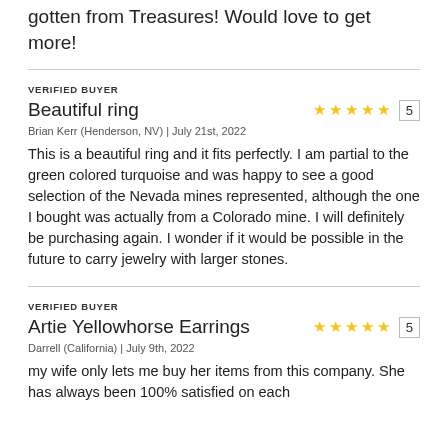gotten from Treasures! Would love to get more!
VERIFIED BUYER
Beautiful ring
Brian Kerr (Henderson, NV) | July 21st, 2022
This is a beautiful ring and it fits perfectly. I am partial to the green colored turquoise and was happy to see a good selection of the Nevada mines represented, although the one I bought was actually from a Colorado mine. I will definitely be purchasing again. I wonder if it would be possible in the future to carry jewelry with larger stones.
VERIFIED BUYER
Artie Yellowhorse Earrings
Darrell (California) | July 9th, 2022
my wife only lets me buy her items from this company. She has always been 100% satisfied on each